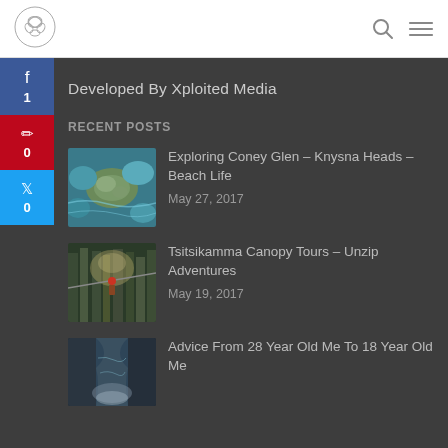[Logo] [Search icon] [Menu icon]
Developed By Xploited Media
Recent Posts
[Figure (photo): Aerial view of coastal rocky outcrop with turquoise water]
Exploring Coney Glen – Knysna Heads – Beach Life
May 27, 2017
[Figure (photo): Person on zip line through forest canopy]
Tsitsikamma Canopy Tours – Unzip Adventures
May 19, 2017
[Figure (photo): Waterfall or rocky water scene]
Advice From 28 Year Old Me To 18 Year Old Me